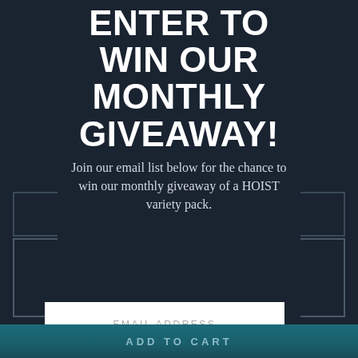ENTER TO WIN OUR MONTHLY GIVEAWAY!
Join our email list below for the chance to win our monthly giveaway of a HOIST variety pack.
EMAIL ADDRESS
SUBMIT
ADD TO CART